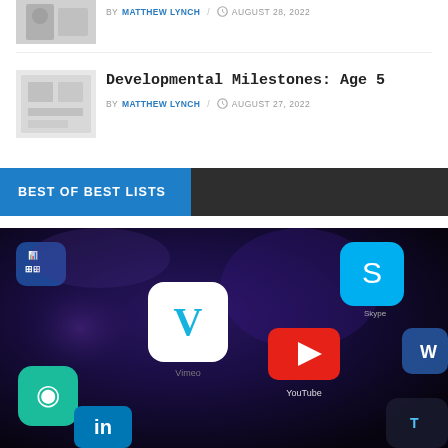[Figure (photo): Small thumbnail image of a person, partially visible at top, cropped]
BY MATTHEW LYNCH / AUGUST 28, 2022
[Figure (photo): Small thumbnail image, blurred/faded, for Developmental Milestones: Age 5 article]
Developmental Milestones: Age 5
BY MATTHEW LYNCH / AUGUST 27, 2022
BEST OF BEST LISTS
[Figure (photo): Close-up photo of a smartphone screen showing app icons including Vimeo, YouTube, LinkedIn, Skype and other social media apps]